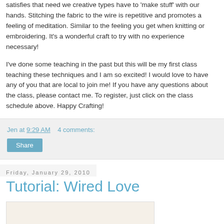satisfies that need we creative types have to 'make stuff' with our hands. Stitching the fabric to the wire is repetitive and promotes a feeling of meditation. Similar to the feeling you get when knitting or embroidering. It's a wonderful craft to try with no experience necessary!
I've done some teaching in the past but this will be my first class teaching these techniques and I am so excited! I would love to have any of you that are local to join me! If you have any questions about the class, please contact me. To register, just click on the class schedule above. Happy Crafting!
Jen at 9:29 AM    4 comments:
Share
Friday, January 29, 2010
Tutorial: Wired Love
[Figure (photo): Partial image visible at bottom of page]